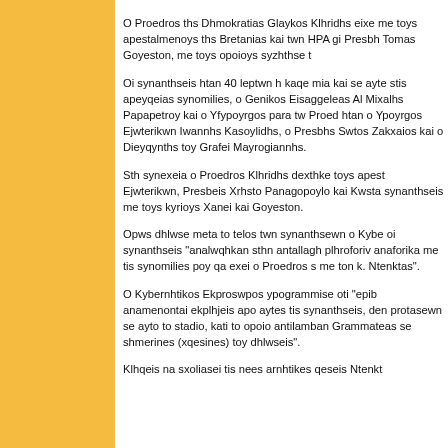O Proedros ths Dhmokratias Glaykos Klhridhs eixe me toys apestalmenoys ths Bretanias kai twn HPA gi Presbh Tomas Goyeston, me toys opoioys syzhthse t
Oi synanthseis htan 40 leptwn h kaqe mia kai se ayte stis apeyqeias synomilies, o Genikos Eisaggeleas Al Mixalhs Papapetroy kai o Yfypoyrgos para tw Proed htan o Ypoyrgos Ejwterikwn Iwannhs Kasoylidhs, o Presbhs Swtos Zakxaios kai o Dieyqynths toy Grafei Mayrogiannhs.
Sth synexeia o Proedros Klhridhs dexthke toys apest Ejwterikwn, Presbeis Xrhsto Panagopoylo kai Kwsta synanthseis me toys kyrioys Xanei kai Goyeston.
Opws dhlwse meta to telos twn synanthsewn o Kybe oi synanthseis "analwqhkan sthn antallagh plhroforiv anaforika me tis synomilies poy qa exei o Proedros s me ton k. Ntenktas".
O Kybernhtikos Ekproswpos ypogrammise oti "epib anamenontai ekplhjeis apo aytes tis synanthseis, den protasewn se ayto to stadio, kati to opoio antilamban Grammateas se shmerines (xqesines) toy dhlwseis".
Klhqeis na sxoliasei tis nees arnhtikes qeseis Ntenkt